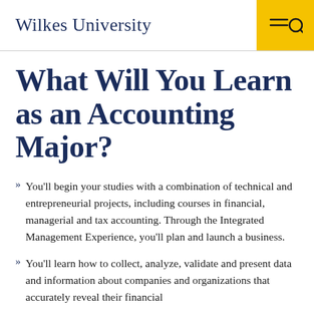Wilkes University
What Will You Learn as an Accounting Major?
You'll begin your studies with a combination of technical and entrepreneurial projects, including courses in financial, managerial and tax accounting. Through the Integrated Management Experience, you'll plan and launch a business.
You'll learn how to collect, analyze, validate and present data and information about companies and organizations that accurately reveal their financial position and performance.